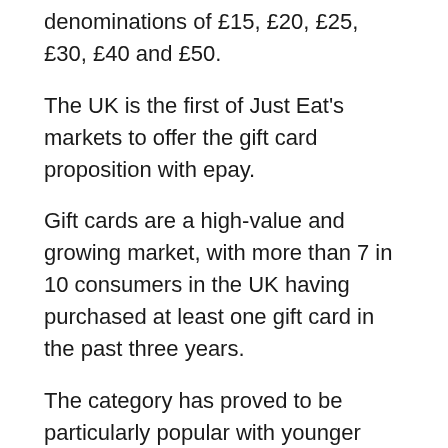denominations of £15, £20, £25, £30, £40 and £50.
The UK is the first of Just Eat's markets to offer the gift card proposition with epay.
Gift cards are a high-value and growing market, with more than 7 in 10 consumers in the UK having purchased at least one gift card in the past three years.
The category has proved to be particularly popular with younger consumers with 44% of 18-34 year olds buying at least one every other month. They are also a powerful customer acquisition channel. Just Eat's trials